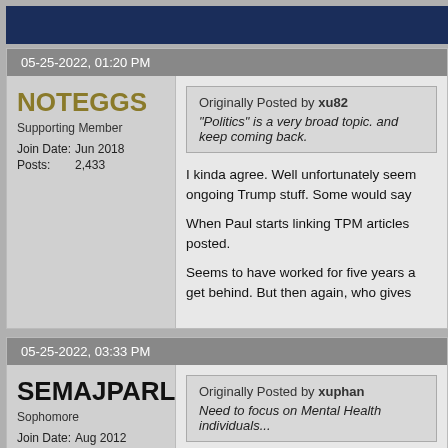05-25-2022, 01:20 PM
NOTEGGS
Supporting Member
Join Date: Jun 2018
Posts: 2,433
Originally Posted by xu82
"Politics" is a very broad topic. and keep coming back.
I kinda agree. Well unfortunately seem ongoing Trump stuff. Some would say

When Paul starts linking TPM articles posted.

Seems to have worked for five years a get behind. But then again, who gives
05-25-2022, 03:33 PM
SEMAJPARLOR
Sophomore
Join Date: Aug 2012
Originally Posted by xuphan
Need to focus on Mental Health individuals...